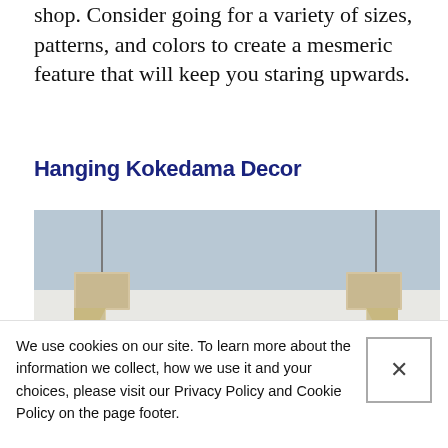shop. Consider going for a variety of sizes, patterns, and colors to create a mesmeric feature that will keep you staring upwards.
Hanging Kokedama Decor
[Figure (photo): A wooden hanging frame or ladder structure suspended from chains attached to the ceiling, photographed against a light grey/blue wall background. The frame is made of light pine wood.]
We use cookies on our site. To learn more about the information we collect, how we use it and your choices, please visit our Privacy Policy and Cookie Policy on the page footer.